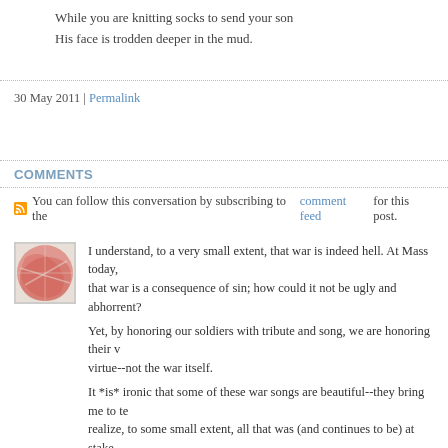While you are knitting socks to send your son
His face is trodden deeper in the mud.
30 May 2011 | Permalink
COMMENTS
You can follow this conversation by subscribing to the comment feed for this post.
I understand, to a very small extent, that war is indeed hell. At Mass today, that war is a consequence of sin; how could it not be ugly and abhorrent?
Yet, by honoring our soldiers with tribute and song, we are honoring their virtue--not the war itself.
It *is* ironic that some of these war songs are beautiful--they bring me to realize, to some small extent, all that was (and continues to be) at stake.
Posted by: Margaret in Minnesota | 30 May 2011 at 11:59 AM
I realize, too, that I should have proofed that last comment to avoid repeati
Posted by: Margaret in Minnesota | 30 May 2011 at 12:00 PM